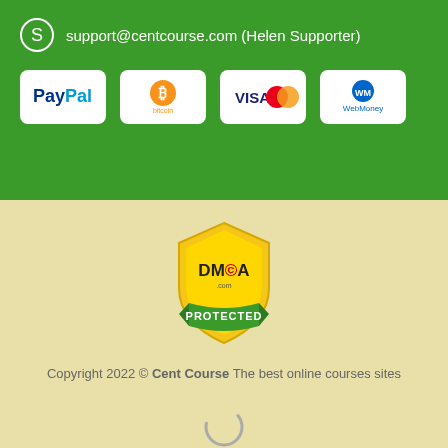support@centcourse.com (Helen Supporter)
[Figure (logo): PayPal logo badge]
[Figure (logo): Bitcoin logo badge]
[Figure (logo): Visa MasterCard logo badge]
[Figure (logo): WebMoney logo badge]
[Figure (logo): DMCA.com Protected shield badge in gold and green]
Copyright 2022 © Cent Course The best online courses sites